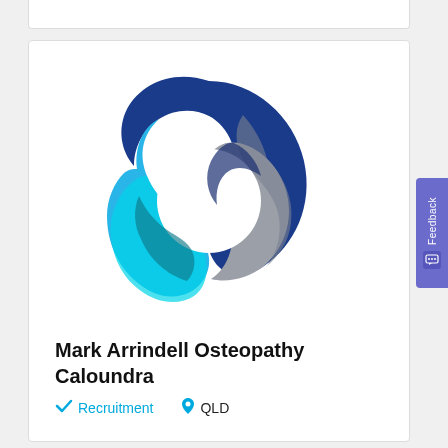[Figure (logo): Mark Arrindell Osteopathy Caloundra logo: three overlapping teardrop/comma shapes forming a circular arrangement in dark blue, light blue/cyan, and grey colors]
Mark Arrindell Osteopathy Caloundra
Recruitment  QLD